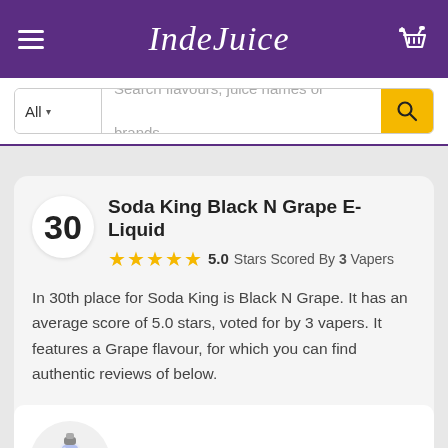IndeJuice
Search flavours, juice names or brands...
Soda King Black N Grape E-Liquid
5.0 Stars Scored By 3 Vapers
In 30th place for Soda King is Black N Grape. It has an average score of 5.0 stars, voted for by 3 vapers. It features a Grape flavour, for which you can find authentic reviews of below.
Black N Grape
[Figure (photo): Product image of Black N Grape e-liquid bottle inside a circular frame]